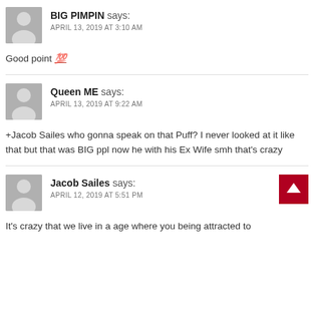BIG PIMPIN says: APRIL 13, 2019 AT 3:10 AM
Good point 💯
Queen ME says: APRIL 13, 2019 AT 9:22 AM
+Jacob Sailes who gonna speak on that Puff? I never looked at it like that but that was BIG ppl now he with his Ex Wife smh that's crazy
Jacob Sailes says: APRIL 12, 2019 AT 5:51 PM
It's crazy that we live in a age where you being attracted to